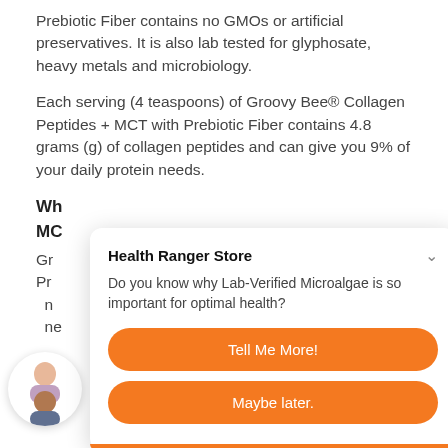Prebiotic Fiber contains no GMOs or artificial preservatives. It is also lab tested for glyphosate, heavy metals and microbiology.
Each serving (4 teaspoons) of Groovy Bee® Collagen Peptides + MCT with Prebiotic Fiber contains 4.8 grams (g) of collagen peptides and can give you 9% of your daily protein needs.
Wh MC
Gr Pr n ne
[Figure (screenshot): A chat popup from Health Ranger Store asking 'Do you know why Lab-Verified Microalgae is so important for optimal health?' with two orange buttons: 'Tell Me More!' and 'Maybe later.']